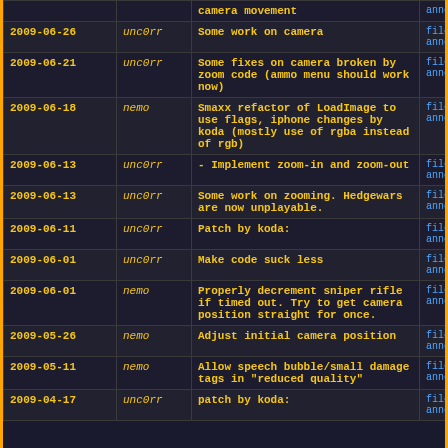| Date | User | Message | Links |
| --- | --- | --- | --- |
|  |  | camera movement | annotate |
| 2009-06-26 | unc0rr | Some work on camera | file | diff | annotate |
| 2009-06-21 | unc0rr | Some fixes on camera broken by zoom code (ammo menu should work now) | file | diff | annotate |
| 2009-06-18 | nemo | Smaxx refactor of LoadImage to use flags, iphone changes by koda (mostly use of rgba instead of rgb) | file | diff | annotate |
| 2009-06-13 | unc0rr | - Implement zoom-in and zoom-out | file | diff | annotate |
| 2009-06-13 | unc0rr | Some work on zooming. Hedgewars are now unplayable. | file | diff | annotate |
| 2009-06-11 | unc0rr | Patch by koda: | file | diff | annotate |
| 2009-06-01 | unc0rr | Make code suck less | file | diff | annotate |
| 2009-06-01 | nemo | Properly decrement sniper rifle if timed out. Try to get camera position straight for once. | file | diff | annotate |
| 2009-05-26 | nemo | Adjust initial camera position | file | diff | annotate |
| 2009-05-11 | nemo | Allow speech bubble/small damage tags in "reduced quality" | file | diff | annotate |
| 2009-04-17 | unc0rr | patch by koda: | file | diff | annotate |